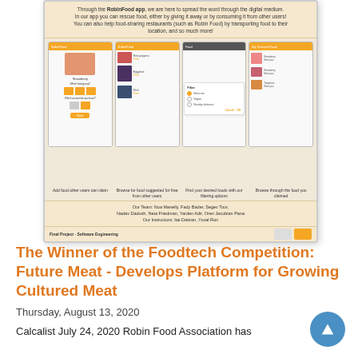[Figure (screenshot): Screenshot of the RobinFood app poster showing four phone screens with food-sharing features, team names, and project title 'Final Project - Software Engineering']
The Winner of the Foodtech Competition: Future Meat - Develops Platform for Growing Cultured Meat
Thursday, August 13, 2020
Calcalist July 24, 2020 Robin Food Association has